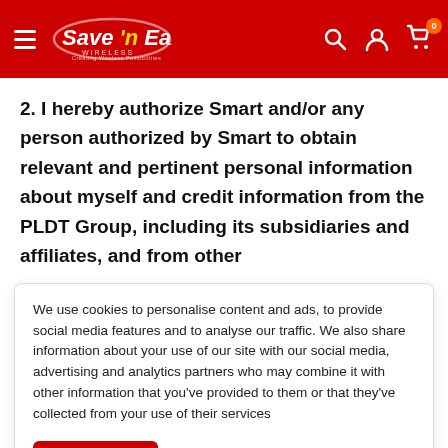Save 'n Earn Wireless — navigation header with logo, search, account, and cart icons
2. I hereby authorize Smart and/or any person authorized by Smart to obtain relevant and pertinent personal information about myself and credit information from the PLDT Group, including its subsidiaries and affiliates, and from other
We use cookies to personalise content and ads, to provide social media features and to analyse our traffic. We also share information about your use of our site with our social media, advertising and analytics partners who may combine it with other information that you've provided to them or that they've collected from your use of their services
information are requested. I also consent to